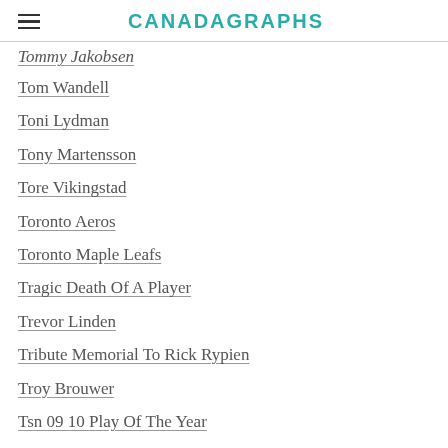CANADAGRAPHS
Tommy Jakobsen
Tom Wandell
Toni Lydman
Tony Martensson
Tore Vikingstad
Toronto Aeros
Toronto Maple Leafs
Tragic Death Of A Player
Trevor Linden
Tribute Memorial To Rick Rypien
Troy Brouwer
Tsn 09 10 Play Of The Year
Tuomo Ruutu
Tuuka Rask
Twitter